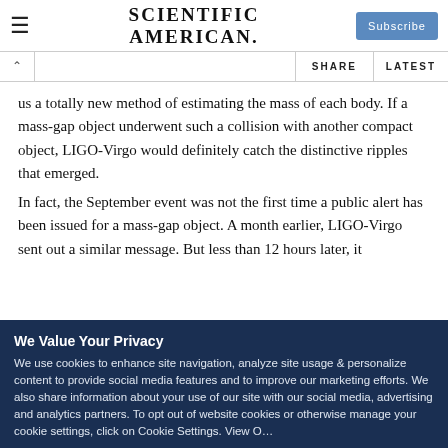SCIENTIFIC AMERICAN — Subscribe
SHARE  LATEST
us a totally new method of estimating the mass of each body. If a mass-gap object underwent such a collision with another compact object, LIGO-Virgo would definitely catch the distinctive ripples that emerged.
In fact, the September event was not the first time a public alert has been issued for a mass-gap object. A month earlier, LIGO-Virgo sent out a similar message. But less than 12 hours later, it
We Value Your Privacy
We use cookies to enhance site navigation, analyze site usage & personalize content to provide social media features and to improve our marketing efforts. We also share information about your use of our site with our social media, advertising and analytics partners. To opt out of website cookies or otherwise manage your cookie settings, click on Cookie Settings. View O…